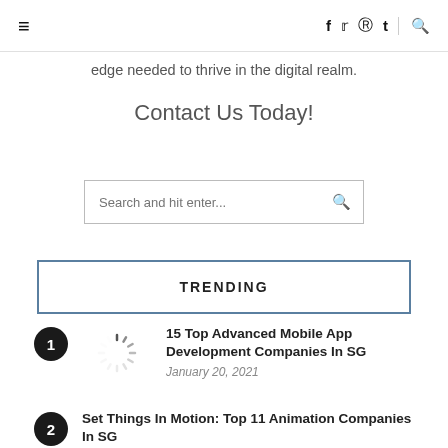≡  f  twitter  pinterest  t  🔍
edge needed to thrive in the digital realm.
Contact Us Today!
Search and hit enter...
TRENDING
1. 15 Top Advanced Mobile App Development Companies In SG — January 20, 2021
2. Set Things In Motion: Top 11 Animation Companies In SG